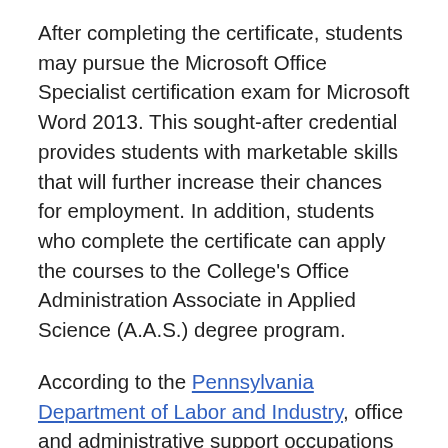After completing the certificate, students may pursue the Microsoft Office Specialist certification exam for Microsoft Word 2013. This sought-after credential provides students with marketable skills that will further increase their chances for employment. In addition, students who complete the certificate can apply the courses to the College's Office Administration Associate in Applied Science (A.A.S.) degree program.
According to the Pennsylvania Department of Labor and Industry, office and administrative support occupations comprise one of the largest occupation groups in the Commonwealth. The Center for Workforce Information and Analysis projects 105 annual openings in this field in Montgomery County. Additionally, there is a growing need in the Montgomery County Region for general office clerks, with an expected 338 annual openings in the